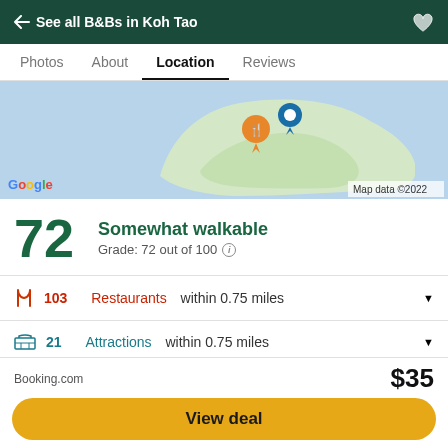← See all B&Bs in Koh Tao
Photos  About  Location  Reviews
[Figure (map): Google Map showing Koh Tao island with orange restaurant pin and blue location pin. Map data ©2022.]
72  Somewhat walkable  Grade: 72 out of 100
103 Restaurants within 0.75 miles
21 Attractions within 0.75 miles
Contact
40/8 Moo 1 Sairee Village Koh Tao 84360 Thailand
Booking.com  $35  View deal